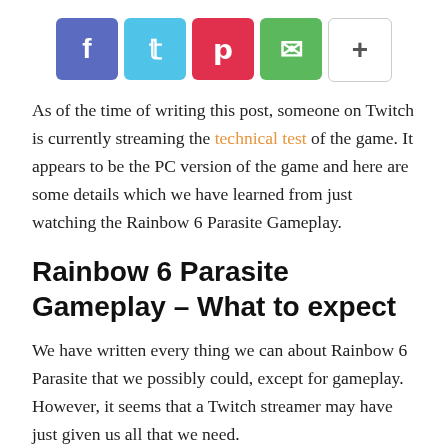[Figure (other): Social share buttons: Facebook (blue), Twitter (cyan), Pinterest (red), WhatsApp (green), More/Plus (white with border)]
As of the time of writing this post, someone on Twitch is currently streaming the technical test of the game. It appears to be the PC version of the game and here are some details which we have learned from just watching the Rainbow 6 Parasite Gameplay.
Rainbow 6 Parasite Gameplay – What to expect
We have written every thing we can about Rainbow 6 Parasite that we possibly could, except for gameplay. However, it seems that a Twitch streamer may have just given us all that we need.